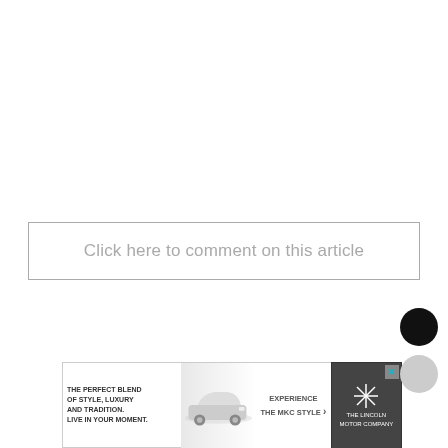Click here to comment on this article
[Figure (other): Advertisement banner for Lincoln Motor Company MKC featuring car image, 'The Perfect Blend of Style, Luxury and Tradition. Live in Your Moment.' tagline, 'Experience the MKC Style' call to action, and Lincoln Motor Company logo on dark background with close button.]